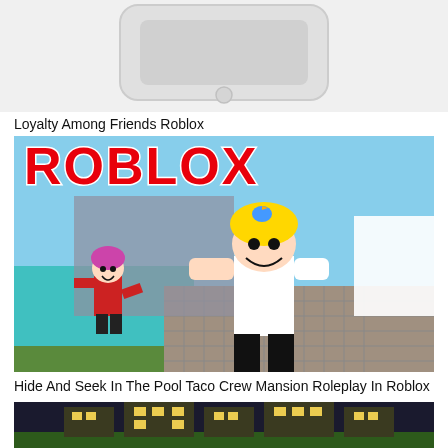[Figure (screenshot): Partial top image of a white/gray device, cropped at top of page]
Loyalty Among Friends Roblox
[Figure (screenshot): Roblox game thumbnail showing two Roblox characters - one with pink hair in red outfit and one tall blonde character - in front of a pool area with ROBLOX logo at top. A small blue bird sits on the tall character's shoulder.]
Hide And Seek In The Pool Taco Crew Mansion Roleplay In Roblox
[Figure (screenshot): Partial bottom image showing a Roblox mansion/building exterior at night with illuminated yellow windows]